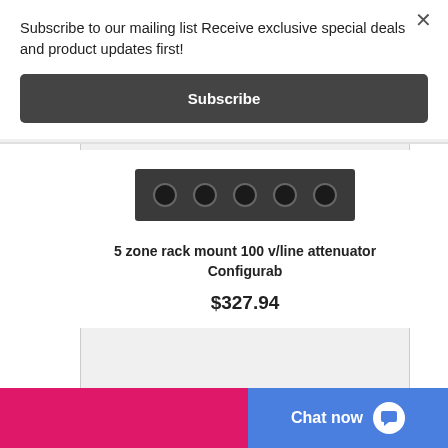Subscribe to our mailing list Receive exclusive special deals and product updates first!
Subscribe
[Figure (photo): 5 zone rack mount audio attenuator device, dark grey/black panel with multiple ports/knobs]
5 zone rack mount 100 v/line attenuator Configurab
$327.94
Chat now